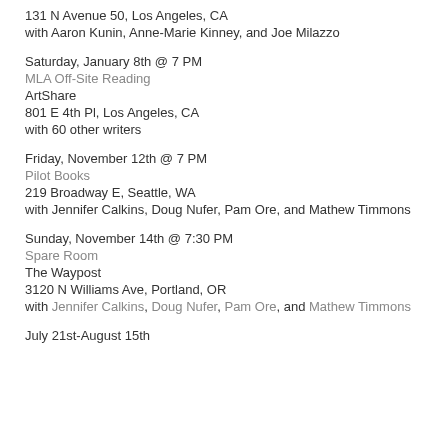131 N Avenue 50, Los Angeles, CA
with Aaron Kunin, Anne-Marie Kinney, and Joe Milazzo
Saturday, January 8th @ 7 PM
MLA Off-Site Reading
ArtShare
801 E 4th Pl, Los Angeles, CA
with 60 other writers
Friday, November 12th @ 7 PM
Pilot Books
219 Broadway E, Seattle, WA
with Jennifer Calkins, Doug Nufer, Pam Ore, and Mathew Timmons
Sunday, November 14th @ 7:30 PM
Spare Room
The Waypost
3120 N Williams Ave, Portland, OR
with Jennifer Calkins, Doug Nufer, Pam Ore, and Mathew Timmons
July 21st-August 15th